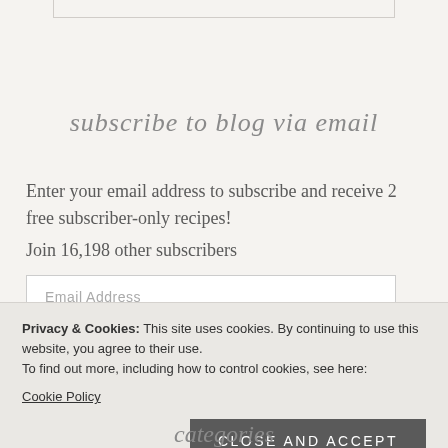[Figure (other): Partial border box at top of page]
subscribe to blog via email
Enter your email address to subscribe and receive 2 free subscriber-only recipes!
Join 16,198 other subscribers
Email Address
Privacy & Cookies: This site uses cookies. By continuing to use this website, you agree to their use.
To find out more, including how to control cookies, see here:
Cookie Policy
Close and accept
categories